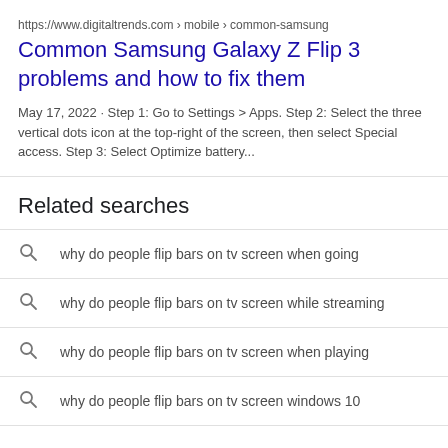https://www.digitaltrends.com › mobile › common-samsung
Common Samsung Galaxy Z Flip 3 problems and how to fix them
May 17, 2022 · Step 1: Go to Settings > Apps. Step 2: Select the three vertical dots icon at the top-right of the screen, then select Special access. Step 3: Select Optimize battery...
Related searches
why do people flip bars on tv screen when going
why do people flip bars on tv screen while streaming
why do people flip bars on tv screen when playing
why do people flip bars on tv screen windows 10